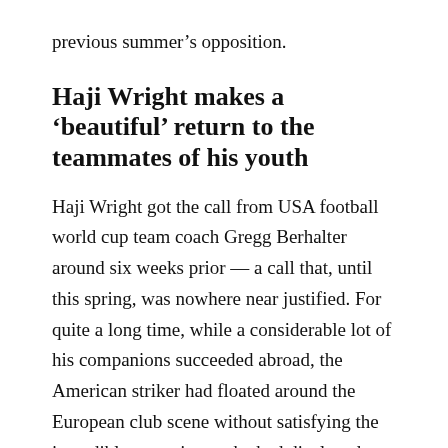previous summer's opposition.
Haji Wright makes a 'beautiful' return to the teammates of his youth
Haji Wright got the call from USA football world cup team coach Gregg Berhalter around six weeks prior — a call that, until this spring, was nowhere near justified. For quite a long time, while a considerable lot of his companions succeeded abroad, the American striker had floated around the European club scene without satisfying the incredible commitment he had displayed at the youth national team level.